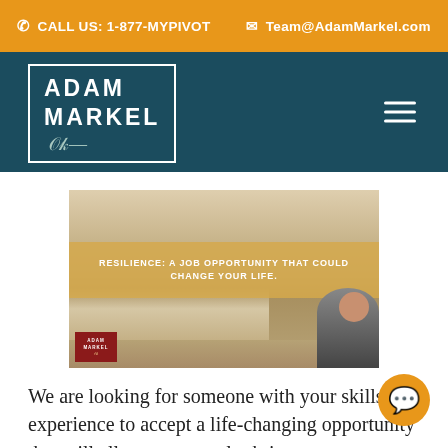CALL US: 1-877-MYPIVOT   Team@AdamMarkel.com
[Figure (logo): Adam Markel logo in teal navigation bar with white border box and signature]
[Figure (photo): Hero image showing hands on wooden floor with golden banner text 'RESILIENCE: A JOB OPPORTUNITY THAT COULD CHANGE YOUR LIFE.' and Adam Markel logo badge and person photo in lower right]
We are looking for someone with your skills and experience to accept a life-changing opportunity that will allow you to truly thrive, no matter what life dealt you in 2021 or may be to come in